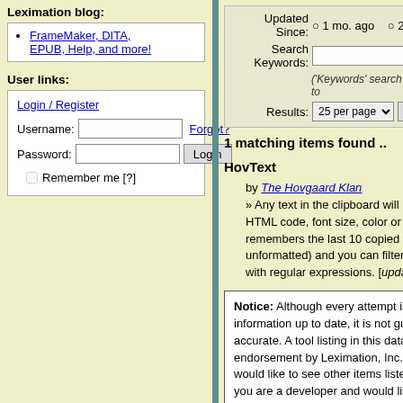Leximation blog:
FrameMaker, DITA, EPUB, Help, and more!
User links:
Login / Register
Username: [input] Forgot?
Password: [input] Login
Remember me [?]
Updated Since: ○ 1 mo. ago ○ 2 ...
Search Keywords: [input]
('Keywords' search the to...
Results: 25 per page ▾  S
1 matching items found ..
HovText
by The Hovgaard Klan
» Any text in the clipboard will be p... HTML code, font size, color or layo... remembers the last 10 copied texts... unformatted) and you can filter out... with regular expressions. [updated...
Notice: Although every attempt is... information up to date, it is not gu... accurate. A tool listing in this data... endorsement by Leximation, Inc. ... would like to see other items liste... you are a developer and would lik... your products, contact us and we... necessary access. Contact Lexim...